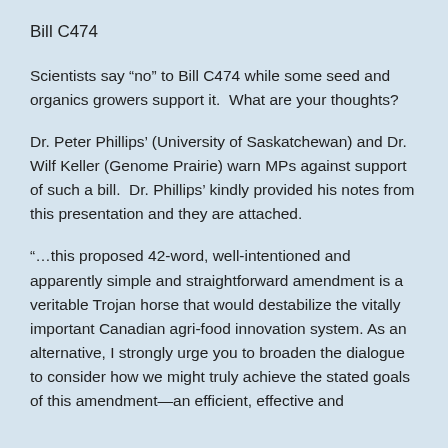Bill C474
Scientists say “no” to Bill C474 while some seed and organics growers support it.  What are your thoughts?
Dr. Peter Phillips’ (University of Saskatchewan) and Dr. Wilf Keller (Genome Prairie) warn MPs against support of such a bill.  Dr. Phillips’ kindly provided his notes from this presentation and they are attached.
“…this proposed 42-word, well-intentioned and apparently simple and straightforward amendment is a veritable Trojan horse that would destabilize the vitally important Canadian agri-food innovation system. As an alternative, I strongly urge you to broaden the dialogue to consider how we might truly achieve the stated goals of this amendment—an efficient, effective and